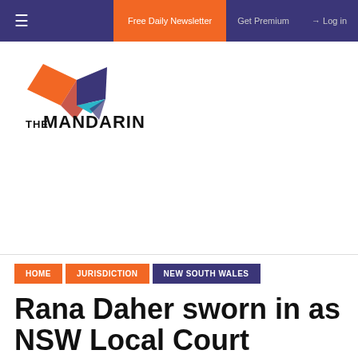≡  Free Daily Newsletter   Get Premium   Log in
[Figure (logo): The Mandarin logo with geometric orange, red, and purple shapes above the text THE MANDARIN]
HOME  JURISDICTION  NEW SOUTH WALES
Rana Daher sworn in as NSW Local Court magistrate